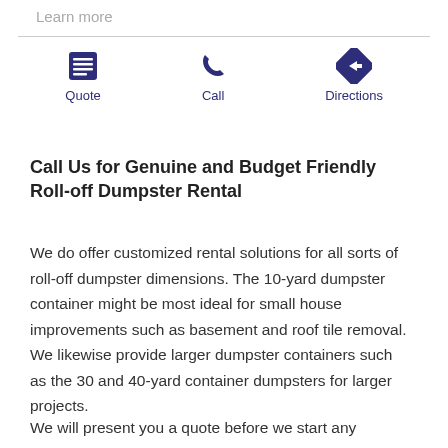Learn more
[Figure (infographic): Three navigation icons: Quote (list/menu icon), Call (phone icon), Directions (right-arrow road sign icon), each with label below in dark navy blue]
Call Us for Genuine and Budget Friendly Roll-off Dumpster Rental
We do offer customized rental solutions for all sorts of roll-off dumpster dimensions. The 10-yard dumpster container might be most ideal for small house improvements such as basement and roof tile removal. We likewise provide larger dumpster containers such as the 30 and 40-yard container dumpsters for larger projects.
We will present you a quote before we start any service,